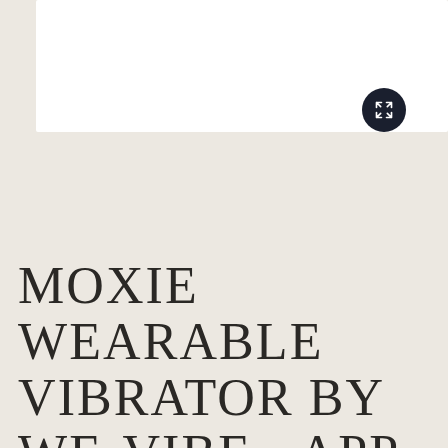[Figure (photo): White image display area for product photo with expand button overlay]
MOXIE WEARABLE VIBRATOR BY WE-VIBE - APP CONTROLLED